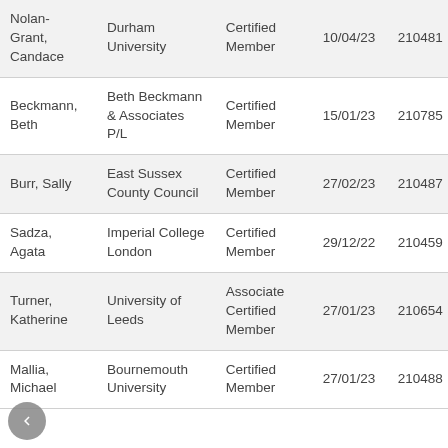| Nolan-Grant, Candace | Durham University | Certified Member | 10/04/23 | 210481 |
| Beckmann, Beth | Beth Beckmann & Associates P/L | Certified Member | 15/01/23 | 210785 |
| Burr, Sally | East Sussex County Council | Certified Member | 27/02/23 | 210487 |
| Sadza, Agata | Imperial College London | Certified Member | 29/12/22 | 210459 |
| Turner, Katherine | University of Leeds | Associate Certified Member | 27/01/23 | 210654 |
| Mallia, Michael | Bournemouth University | Certified Member | 27/01/23 | 210488 |